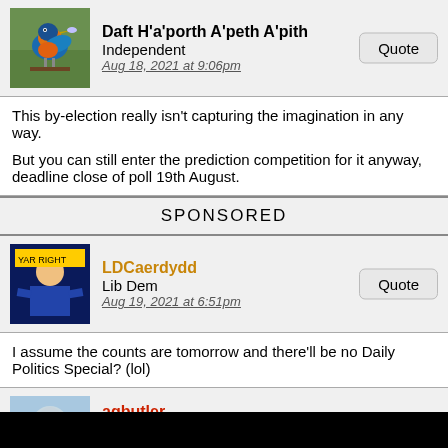Daft H'a'porth A'peth A'pith
Independent
Aug 18, 2021 at 9:06pm
This by-election really isn't capturing the imagination in any way.

But you can still enter the prediction competition for it anyway, deadline close of poll 19th August.
SPONSORED
LDCaerdydd
Lib Dem
Aug 19, 2021 at 6:51pm
I assume the counts are tomorrow and there'll be no Daily Politics Special? (lol)
agbutler
Labour
Aug 19, 2021 at 9:03pm
LDCaerdydd likes this
Wiltshire Council have just tweeted that they're counting tomorrow